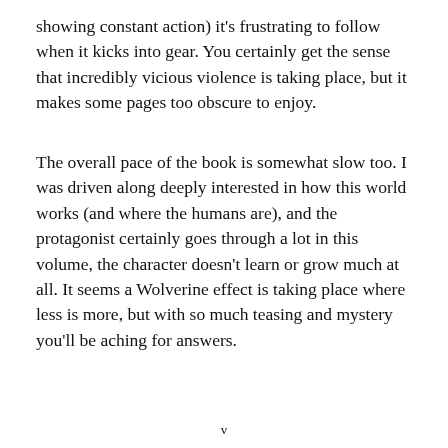showing constant action) it's frustrating to follow when it kicks into gear. You certainly get the sense that incredibly vicious violence is taking place, but it makes some pages too obscure to enjoy.
The overall pace of the book is somewhat slow too. I was driven along deeply interested in how this world works (and where the humans are), and the protagonist certainly goes through a lot in this volume, the character doesn't learn or grow much at all. It seems a Wolverine effect is taking place where less is more, but with so much teasing and mystery you'll be aching for answers.
v